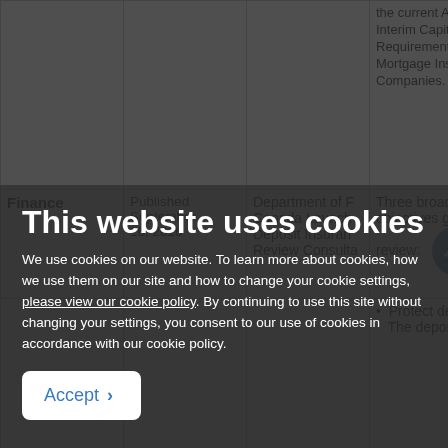|  |  |  | the current Advance Interim Capital Requirements for Mortgage Insurance Companies. |
| Finance | Published September 16, 2016 | Department of Finance Canada Launch... Deposit Insurance Review Consulta... |
Three broad po objectives guide review:
Protect depo... The deposit
This website uses cookies
We use cookies on our website. To learn more about cookies, how we use them on our site and how to change your cookie settings, please view our cookie policy. By continuing to use this site without changing your settings, you consent to our use of cookies in accordance with our cookie policy.
Accept